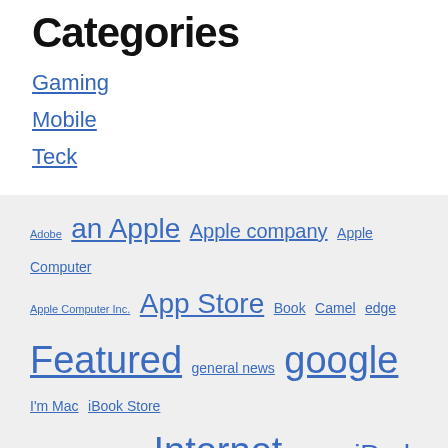Categories
Gaming
Mobile
Teck
Adobe an Apple Apple company Apple Computer Apple Computer Inc. App Store Book Camel edge Featured general news google I'm Mac iBook Store iMac Intel Corporation Internet ios 9 ios9 iPad iphone Iphone 6 iphone 6s iPod classic iPod touch itunes iTunes Store Macbook Pro mac osx mac os x Mac Pro Magic Bad Microsoft news nokia Nvidia Political/General News Politician Samsung Search underway